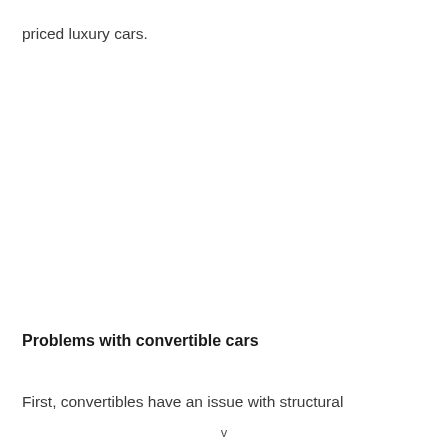priced luxury cars.
Problems with convertible cars
First, convertibles have an issue with structural
v